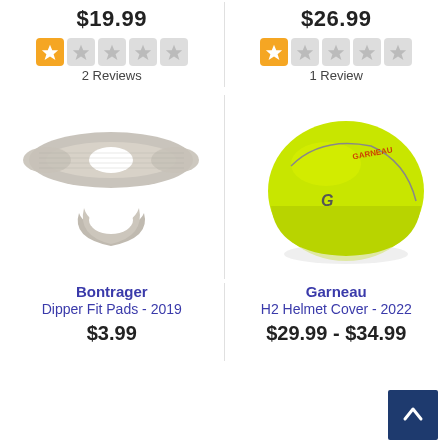$19.99
[Figure (other): Star rating: 1 filled star, 4 empty stars]
2 Reviews
$26.99
[Figure (other): Star rating: 1 filled star, 4 empty stars]
1 Review
[Figure (photo): Bontrager Dipper Fit Pads - gray foam helmet padding pieces]
[Figure (photo): Garneau H2 Helmet Cover - neon yellow/green helmet cover]
Bontrager
Dipper Fit Pads - 2019
Garneau
H2 Helmet Cover - 2022
$3.99
$29.99 - $34.99